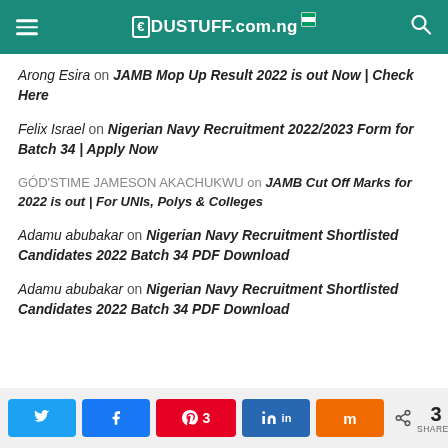EDUSTUFF.com.ng
Arong Esira on JAMB Mop Up Result 2022 is out Now | Check Here
Felix Israel on Nigerian Navy Recruitment 2022/2023 Form for Batch 34 | Apply Now
GÓD'STIME JAMESON AKACHUKWU on JAMB Cut Off Marks for 2022 is out | For UNIs, Polys & Colleges
Adamu abubakar on Nigerian Navy Recruitment Shortlisted Candidates 2022 Batch 34 PDF Download
Adamu abubakar on Nigerian Navy Recruitment Shortlisted Candidates 2022 Batch 34 PDF Download
3 SHARES — Twitter, Facebook, Pinterest (3), LinkedIn, Mix